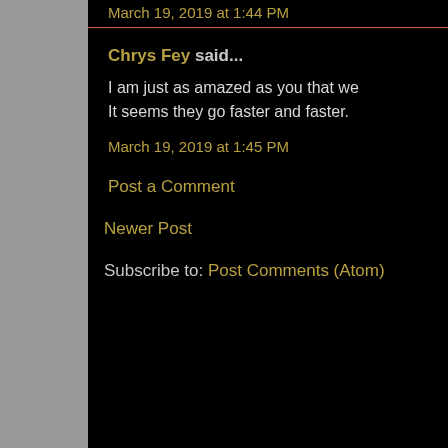March 19, 2019 at 1:44 PM
Chrys Fey said...
I am just as amazed as you that we It seems they go faster and faster.
March 19, 2019 at 1:45 PM
Post a Comment
Newer Post
Subscribe to: Post Comments (Atom)